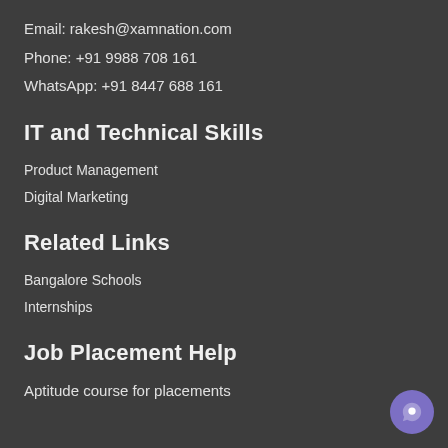Email: rakesh@xamnation.com
Phone: +91 9988 708 161
WhatsApp: +91 8447 688 161
IT and Technical Skills
Product Management
Digital Marketing
Related Links
Bangalore Schools
Internships
Job Placement Help
Aptitude course for placements